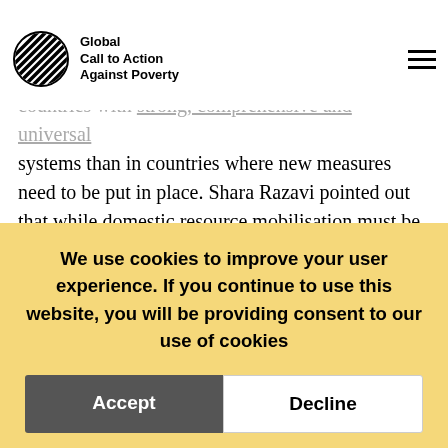Global Call to Action Against Poverty
right wing? Which have governments found easier to expand and social protection effectively in countries with strong, comprehensive and universal systems than in countries where new measures need to be put in place. Shara Razavi pointed out that while domestic resource mobilisation must be the basis of national social protection systems, international support for developing countries is critical, especially in the current context of falling commodity prices, disruptions in export revenues and dwindling re... undoubtedly a t... and economic ra...
We use cookies! By using this website without changing your settings, you consent to our use of
We use cookies to improve your user experience. If you continue to use this website, you will be providing consent to our use of cookies
Accept
Decline